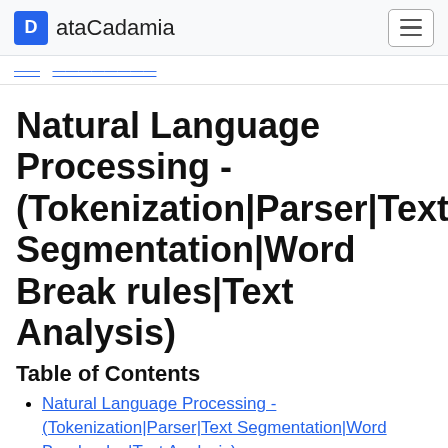ataCadamia
Natural Language Processing - (Tokenization|Parser|Text Segmentation|Word Break rules|Text Analysis)
Table of Contents
Natural Language Processing - (Tokenization|Parser|Text Segmentation|Word Break rules|Text Analysis)
1 - About
2 - Articles Related
3 - Tokenization
3.1 - Pre
3.2 - During